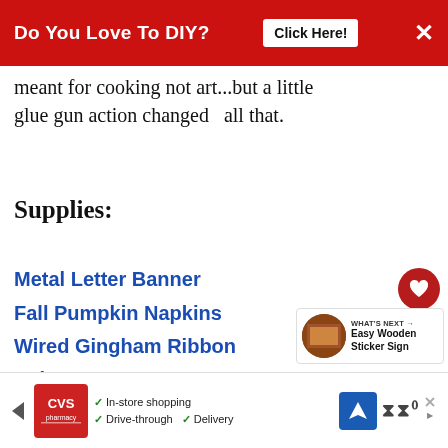Do You Love To DIY? Click Here! ×
meant for cooking not art...but a little glue gun action changed  all that.
Supplies:
Metal Letter Banner
Fall Pumpkin Napkins
Wired Gingham Ribbon
Splatter Screen
[Figure (other): WHAT'S NEXT arrow label with thumbnail image and text 'Easy Wooden Sticker Sign']
[Figure (other): CVS Pharmacy advertisement banner with checkmarks for In-store shopping, Drive-through, and Delivery options]